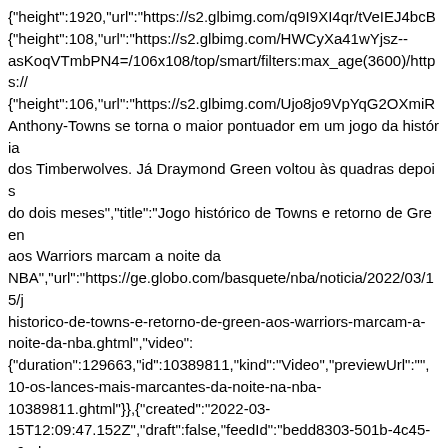{"height":1920,"url":"https://s2.glbimg.com/q9I9XI4qr/tVeIEJ4bcB {"height":108,"url":"https://s2.glbimg.com/HWCyXa41wYjsz--asKoqVTmbPN4=/106x108/top/smart/filters:max_age(3600)/https:// {"height":106,"url":"https://s2.glbimg.com/Ujo8jo9VpYqG2OXmiR Anthony-Towns se torna o maior pontuador em um jogo da história dos Timberwolves. Já Draymond Green voltou às quadras depois do dois meses","title":"Jogo histórico de Towns e retorno de Green aos Warriors marcam a noite da NBA","url":"https://ge.globo.com/basquete/nba/noticia/2022/03/15/j historico-de-towns-e-retorno-de-green-aos-warriors-marcam-a-noite-da-nba.ghtml","video": {"duration":129663,"id":10389811,"kind":"Video","previewUrl":"", 10-os-lances-mais-marcantes-da-noite-na-nba-10389811.ghtml"}},{"created":"2022-03-15T12:09:47.152Z","draft":false,"feedId":"bedd8303-501b-4c45-a6ed-533aac10669c","id":"56100d28075973e76bcc5d7c14c1178a","lastP 03-15T12:12:48.904Z","modified":"2022-03-15T12:12:48.904Z","parentId":null,"publication":"2022-03-15T12:09:47.152Z","tenantId":"ge","type":"materia"}, {"age":72553,"area":"","children":null,"content":{"chapeu": {"image":{},"label":""},"image":{"cropOptions":{},"sizes":{"L": {"height":608,"url":"https://s2.glbimg.com/8M57LeGOdSOd-wurcxa_yl1UkX4=/1080x608/top/smart/filters:max_age(3600)/https {"height":456,"url":"https://s2.glbimg.com/TNrGKrkudCUvykrOoIF {"height":114,"url":"https://s2.glbimg.com/from/2022/03/15/MMM